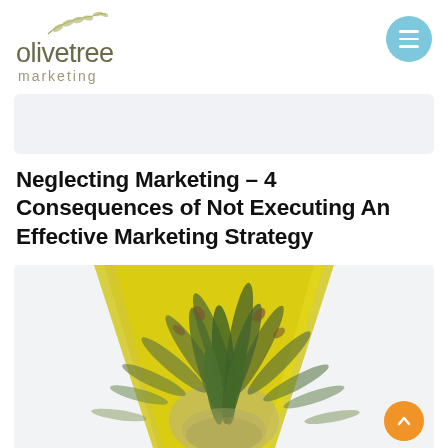[Figure (logo): Olivetree Marketing logo with olive branch icon above text 'olivetree marketing']
Neglecting Marketing – 4 Consequences of Not Executing An Effective Marketing Strategy
[Figure (photo): Close-up photo of a pineapple top with spiky green leaves against a white background, with a large yellow triangle/chevron shape visible in the background]